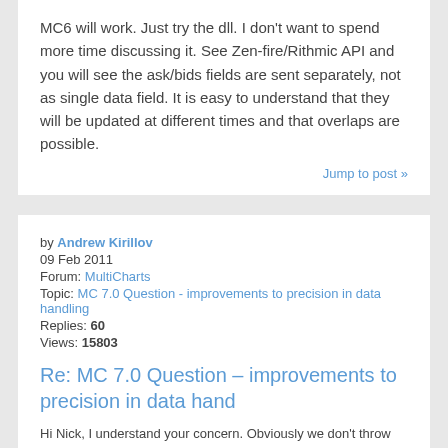MC6 will work. Just try the dll. I don't want to spend more time discussing it. See Zen-fire/Rithmic API and you will see the ask/bids fields are sent separately, not as single data field. It is easy to understand that they will be updated at different times and that overlaps are possible.
Jump to post »
by Andrew Kirillov
09 Feb 2011
Forum: MultiCharts
Topic: MC 7.0 Question - improvements to precision in data handling
Replies: 60
Views: 15803
Re: MC 7.0 Question – improvements to precision in data hand
Hi Nick, I understand your concern. Obviously we don't throw data away. We just wait for milliseconds to get an updated value for bid if ask changed or vice versa. Again the issue is they are not updated synchronously and as a result the